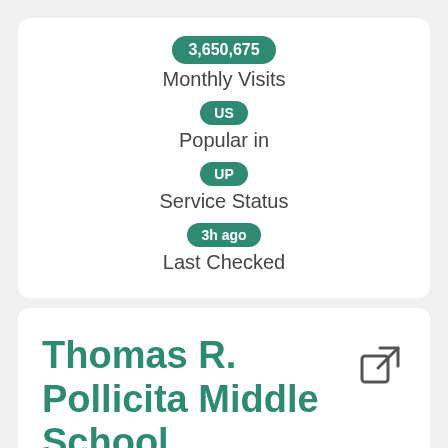3,650,675
Monthly Visits
US
Popular in
UP
Service Status
3h ago
Last Checked
Thomas R. Pollicita Middle School